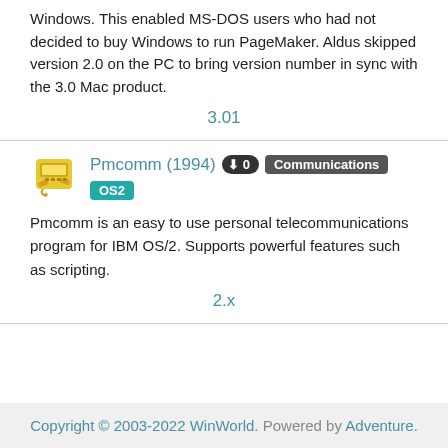Windows. This enabled MS-DOS users who had not decided to buy Windows to run PageMaker. Aldus skipped version 2.0 on the PC to bring version number in sync with the 3.0 Mac product.
3.01
Pmcomm (1994)
Pmcomm is an easy to use personal telecommunications program for IBM OS/2. Supports powerful features such as scripting.
2.x
Copyright © 2003-2022 WinWorld. Powered by Adventure.